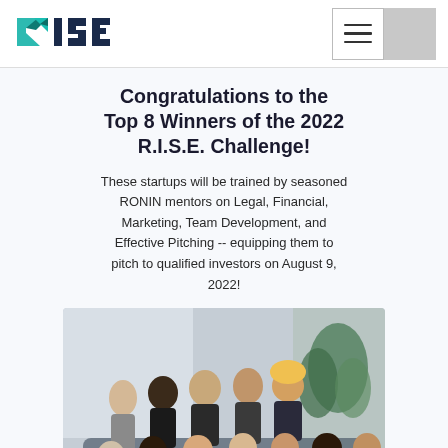[Figure (logo): RISE logo with teal arrow-R and block letters I S E in teal and dark blue]
Congratulations to the Top 8 Winners of the 2022 R.I.S.E. Challenge!
These startups will be trained by seasoned RONIN mentors on Legal, Financial, Marketing, Team Development, and Effective Pitching -- equipping them to pitch to qualified investors on August 9, 2022!
[Figure (photo): Group photo of approximately 12 people, a mix of men and women, seated and standing, in a bright room with a plant in the background]